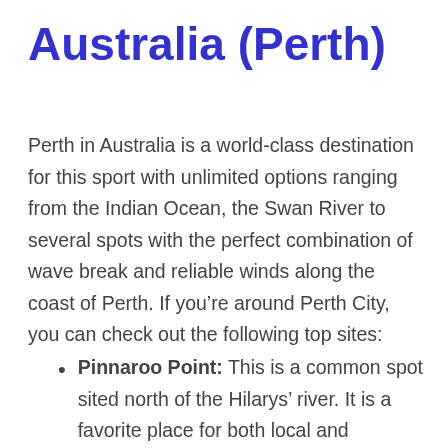Australia (Perth)
Perth in Australia is a world-class destination for this sport with unlimited options ranging from the Indian Ocean, the Swan River to several spots with the perfect combination of wave break and reliable winds along the coast of Perth. If you’re around Perth City, you can check out the following top sites:
Pinnaroo Point: This is a common spot sited north of the Hilarys’ river. It is a favorite place for both local and